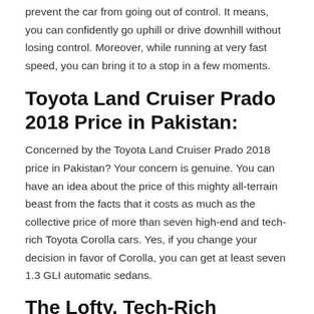prevent the car from going out of control. It means, you can confidently go uphill or drive downhill without losing control. Moreover, while running at very fast speed, you can bring it to a stop in a few moments.
Toyota Land Cruiser Prado 2018 Price in Pakistan:
Concerned by the Toyota Land Cruiser Prado 2018 price in Pakistan? Your concern is genuine. You can have an idea about the price of this mighty all-terrain beast from the facts that it costs as much as the collective price of more than seven high-end and tech-rich Toyota Corolla cars. Yes, if you change your decision in favor of Corolla, you can get at least seven 1.3 GLI automatic sedans.
The Lofty, Tech-Rich Interior: